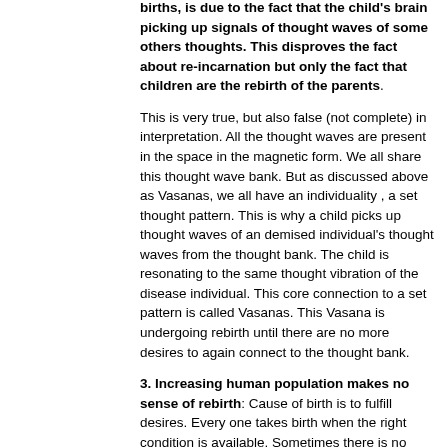births, is due to the fact that the child's brain picking up signals of thought waves of some others thoughts. This disproves the fact about re-incarnation but only the fact that children are the rebirth of the parents.
This is very true, but also false (not complete) in interpretation. All the thought waves are present in the space in the magnetic form. We all share this thought wave bank. But as discussed above as Vasanas, we all have an individuality , a set thought pattern. This is why a child picks up thought waves of an demised individual's thought waves from the thought bank. The child is resonating to the same thought vibration of the disease individual. This core connection to a set pattern is called Vasanas. This Vasana is undergoing rebirth until there are no more desires to again connect to the thought bank.
3. Increasing human population makes no sense of rebirth: Cause of birth is to fulfill desires. Every one takes birth when the right condition is available. Sometimes there is no choice. But given a chance like life originated on earth when the right conditions prevailed so does birth happens at the right conditions. Thought patterns which wished